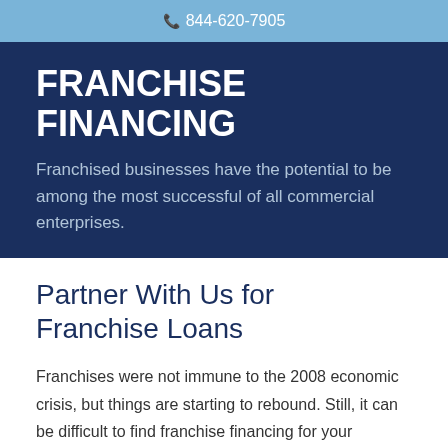844-620-7905
FRANCHISE FINANCING
Franchised businesses have the potential to be among the most successful of all commercial enterprises.
Partner With Us for Franchise Loans
Franchises were not immune to the 2008 economic crisis, but things are starting to rebound. Still, it can be difficult to find franchise financing for your venture, as some lenders are not ready to take the risk. Here at Unlimited